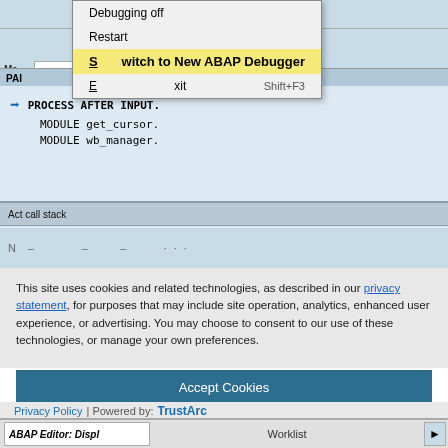[Figure (screenshot): SAP ABAP Debugger screenshot showing a dropdown menu with options: 'Debugging off', 'Restart', 'Switch to New ABAP Debugger' (highlighted in yellow), 'Exit  Shift+F3'. Toolbar shows buttons for Watchpoints, Calls, Overview. Code area shows PROCESS AFTER INPUT, MODULE get_cursor., MODULE wb_manager. with a blue arrow indicator. Below is an 'Act call stack' bar.]
This site uses cookies and related technologies, as described in our privacy statement, for purposes that may include site operation, analytics, enhanced user experience, or advertising. You may choose to consent to our use of these technologies, or manage your own preferences.
Accept Cookies
More Information
Privacy Policy | Powered by: TrustArc
ABAP Editor: Displ    Worklist